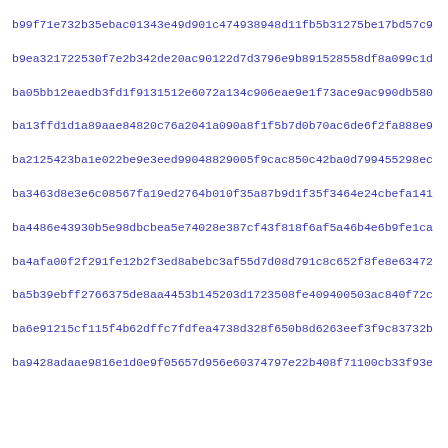b99f71e732b35ebac01343e49d901c474938948d11fb5b31275be17bd57c9
b9ea321722530f7e2b342de20ac90122d7d3796e9b891528558df8a099c1d
ba05bb12eaedb3fd1f9131512e6072a134c906eae9e1f73ace9ac990db580
ba13ffd1d1a89aae84820c76a2041a090a8f1f5b7d0b70ac6de6f2fa888e9
ba2125423ba1e022be9e3eed99048829005f9cac850c42ba0d799455298ec
ba3463d8e3e6c08567fa19ed2764b010f35a87b9d1f35f3464e24cbefa141
ba4486e43930b5e98dbcbea5e74028e387cf43f818f6af5a46b4e6b9fe1ca
ba4afa00f2f291fe12b2f3ed8abebc3af55d7d08d791c8c652f8fe8e63472
ba5b39ebff2766375de8aa4453b145203d1723508fe409400503ac840f72c
ba6e91215cf115f4b62dffc7fdfea4738d328f650b8d6263eef3f9c83732b
ba9428adaae9816e1d0e9f05657d956e60374797e22b408f71100cb33f93e